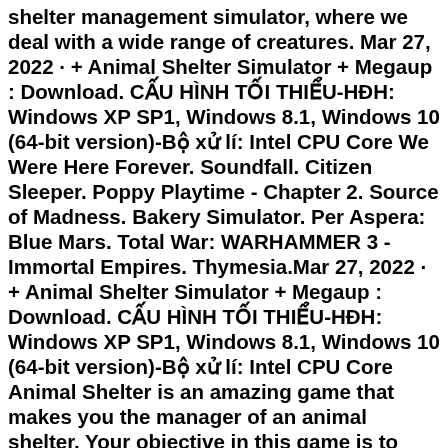shelter management simulator, where we deal with a wide range of creatures. Mar 27, 2022 · + Animal Shelter Simulator + Megaup : Download. CẤU HÌNH TỐI THIỂU-HĐH: Windows XP SP1, Windows 8.1, Windows 10 (64-bit version)-Bộ xử lí: Intel CPU Core We Were Here Forever. Soundfall. Citizen Sleeper. Poppy Playtime - Chapter 2. Source of Madness. Bakery Simulator. Per Aspera: Blue Mars. Total War: WARHAMMER 3 - Immortal Empires. Thymesia.Mar 27, 2022 · + Animal Shelter Simulator + Megaup : Download. CẤU HÌNH TỐI THIỂU-HĐH: Windows XP SP1, Windows 8.1, Windows 10 (64-bit version)-Bộ xử lí: Intel CPU Core Animal Shelter is an amazing game that makes you the manager of an animal shelter. Your objective in this game is to take care of the animals under your care in the shelter and keep them happy by meeting their basic needs. If you successfully keep them happy, they will get adopted and become the beloved pets of loving families. ...Dec 30, 2021 · Animal Shelter Simulator, set to arrive next year, could make you go